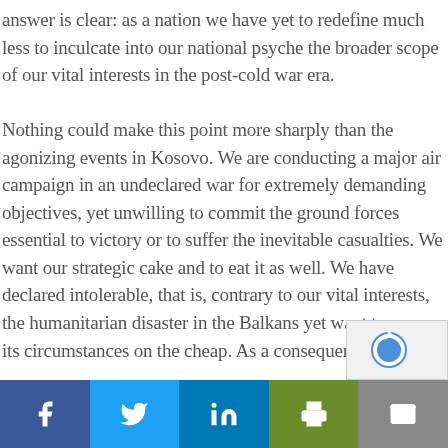answer is clear: as a nation we have yet to redefine much less to inculcate into our national psyche the broader scope of our vital interests in the post-cold war era.

Nothing could make this point more sharply than the agonizing events in Kosovo. We are conducting a major air campaign in an undeclared war for extremely demanding objectives, yet unwilling to commit the ground forces essential to victory or to suffer the inevitable casualties. We want our strategic cake and to eat it as well. We have declared intolerable, that is, contrary to our vital interests, the humanitarian disaster in the Balkans yet want to reverse its circumstances on the cheap. As a consequen